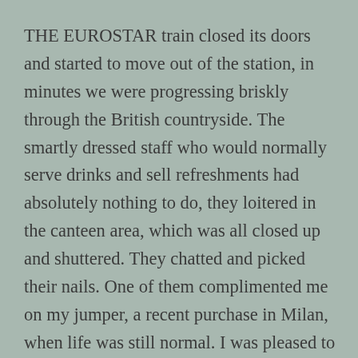THE EUROSTAR train closed its doors and started to move out of the station, in minutes we were progressing briskly through the British countryside. The smartly dressed staff who would normally serve drinks and sell refreshments had absolutely nothing to do, they loitered in the canteen area, which was all closed up and shuttered. They chatted and picked their nails. One of them complimented me on my jumper, a recent purchase in Milan, when life was still normal. I was pleased to receive the nice comment. At the mention of 'when life was still normal' we both rolled our eyes, above our